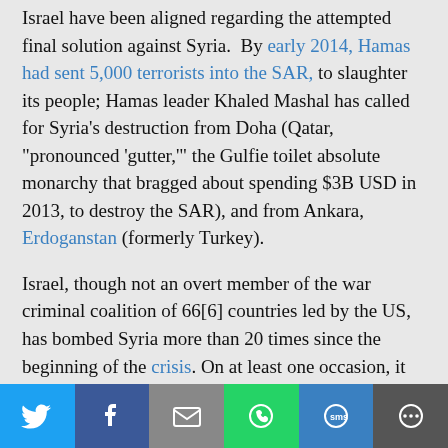Israel have been aligned regarding the attempted final solution against Syria. By early 2014, Hamas had sent 5,000 terrorists into the SAR, to slaughter its people; Hamas leader Khaled Mashal has called for Syria's destruction from Doha (Qatar, "pronounced 'gutter,'" the Gulfie toilet absolute monarchy that bragged about spending $3B USD in 2013, to destroy the SAR), and from Ankara, Erdoganstan (formerly Turkey).
Israel, though not an overt member of the war criminal coalition of 66[6] countries led by the US, has bombed Syria more than 20 times since the beginning of the crisis. On at least one occasion, it coordinated a bombing of Damascus countryside in 2013 with al Qaeda FSA